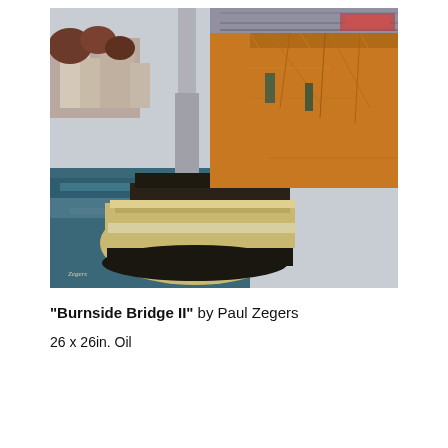[Figure (illustration): Oil painting of the Burnside Bridge in Portland, Oregon. The painting shows the underside and support structure of the bridge in warm orange-brown tones, with a concrete bridge pier/fender in the foreground surrounded by blue-teal water. City buildings are visible in the background upper left. The artist's signature appears in the lower left corner.]
“Burnside Bridge II” by Paul Zegers
26 x 26in. Oil